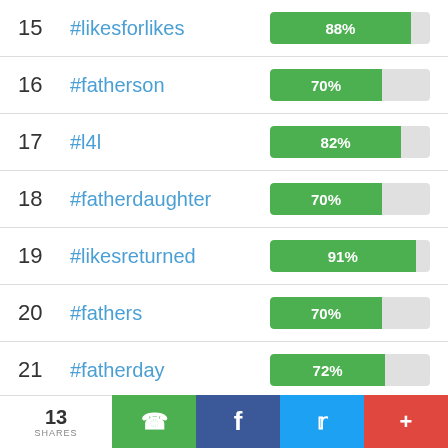15 #likesforlikes 88%
16 #fatherson 70%
17 #l4l 82%
18 #fatherdaughter 70%
19 #likesreturned 91%
20 #fathers 70%
21 #fatherday 72%
13 SHARES | WhatsApp | Facebook | Twitter | +